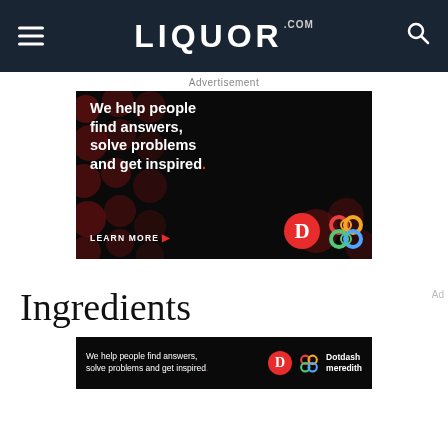LIQUOR.COM
Advertisement
[Figure (illustration): Dark advertisement banner with red polka-dot background pattern. Large white bold text reads: 'We help people find answers, solve problems and get inspired.' with a red period. 'LEARN MORE' button with red arrow. Dotdash red D logo and Dotdash Meredith multicolor logo at bottom right.]
Ingredients
[Figure (illustration): Small dark advertisement banner with white text: 'We help people find answers, solve problems and get inspired.' Red Dotdash D logo and Dotdash Meredith text logo on right.]